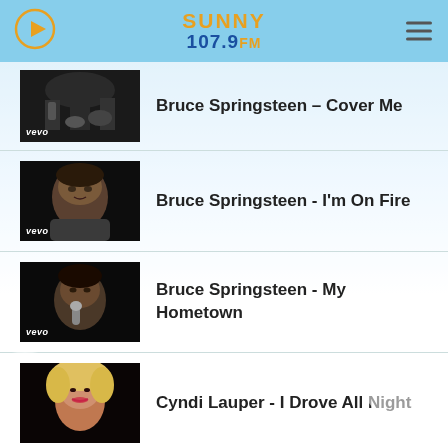Sunny 107.9 FM
Bruce Springsteen - Cover Me
Bruce Springsteen - I'm On Fire
Bruce Springsteen - My Hometown
Cyndi Lauper - I Drove All Night